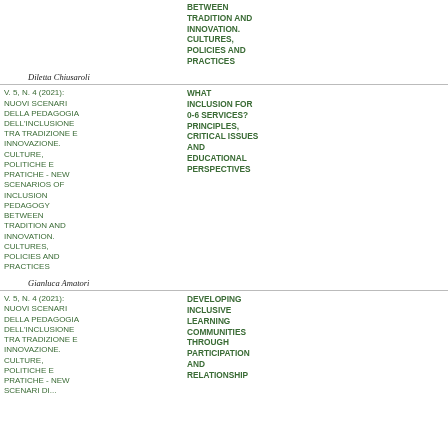BETWEEN TRADITION AND INNOVATION. CULTURES, POLICIES AND PRACTICES
Diletta Chiusaroli
| Issue | Title |  |
| --- | --- | --- |
| V. 5, N. 4 (2021): NUOVI SCENARI DELLA PEDAGOGIA DELL'INCLUSIONE TRA TRADIZIONE E INNOVAZIONE. CULTURE, POLITICHE E PRATICHE - NEW SCENARIOS OF INCLUSION PEDAGOGY BETWEEN TRADITION AND INNOVATION. CULTURES, POLICIES AND PRACTICES | WHAT INCLUSION FOR 0-6 SERVICES? PRINCIPLES, CRITICAL ISSUES AND EDUCATIONAL PERSPECTIVES |  |
| Gianluca Amatori |  |  |
| V. 5, N. 4 (2021): NUOVI SCENARI DELLA PEDAGOGIA DELL'INCLUSIONE TRA TRADIZIONE E INNOVAZIONE. CULTURE, POLITICHE E PRATICHE - NEW SCENARIOS OF... | DEVELOPING INCLUSIVE LEARNING COMMUNITIES THROUGH PARTICIPATION AND RELATIONSHIP |  |